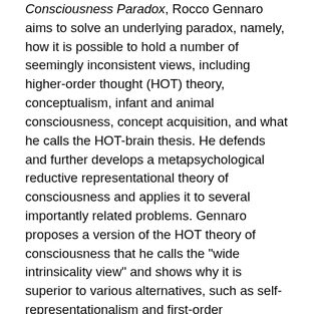Consciousness Paradox, Rocco Gennaro aims to solve an underlying paradox, namely, how it is possible to hold a number of seemingly inconsistent views, including higher-order thought (HOT) theory, conceptualism, infant and animal consciousness, concept acquisition, and what he calls the HOT-brain thesis. He defends and further develops a metapsychological reductive representational theory of consciousness and applies it to several importantly related problems. Gennaro proposes a version of the HOT theory of consciousness that he calls the "wide intrinsicality view" and shows why it is superior to various alternatives, such as self-representationalism and first-order representationalism. HOT theory says that what makes a mental state conscious is that a suitable higher-order thought is directed at that mental state.
Thus Gennaro argues for an overall philosophical theory of consciousness while applying it to other significant issues not usually addressed in the philosophical literature on consciousness. Most cognitive science and empirical works on such topics as concepts and animal consciousness do not address central philosophical theories of consciousness.